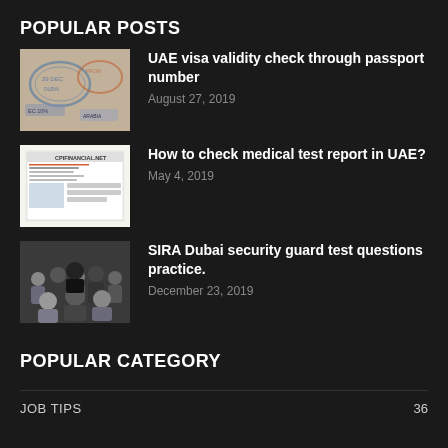POPULAR POSTS
UAE visa validity check through passport number — August 27, 2019
How to check medical test report in UAE? — May 4, 2019
SIRA Dubai security guard test questions practice. — December 23, 2019
POPULAR CATEGORY
JOB TIPS  36